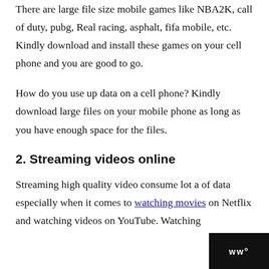There are large file size mobile games like NBA2K, call of duty, pubg, Real racing, asphalt, fifa mobile, etc. Kindly download and install these games on your cell phone and you are good to go.
How do you use up data on a cell phone? Kindly download large files on your mobile phone as long as you have enough space for the files.
2. Streaming videos online
Streaming high quality video consume lot a of data especially when it comes to watching movies on Netflix and watching videos on YouTube. Watching m...
WWo